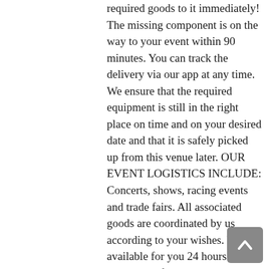required goods to it immediately! The missing component is on the way to your event within 90 minutes. You can track the delivery via our app at any time. We ensure that the required equipment is still in the right place on time and on your desired date and that it is safely picked up from this venue later. OUR EVENT LOGISTICS INCLUDE: Concerts, shows, racing events and trade fairs. All associated goods are coordinated by us according to your wishes. We are available for you 24 hours a day, every day of the week. We are also happy to accompany large projects on site and take care of the correct handling of delivery and collection according to your specifications. Of course, you can also contact our admirers… but you'd better